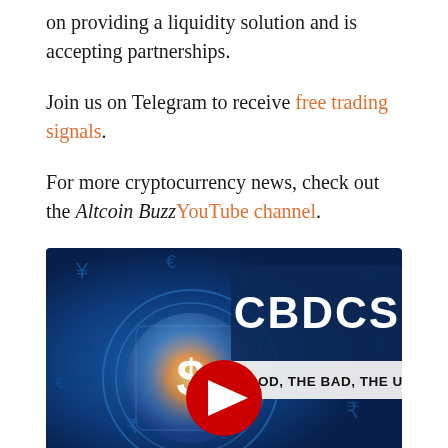on providing a liquidity solution and is accepting partnerships.
Join us on Telegram to receive free trading signals.
For more cryptocurrency news, check out the Altcoin Buzz YouTube channel.
[Figure (screenshot): YouTube video thumbnail for Altcoin Buzz video titled 'CBDCS - THE GOOD, THE BAD, THE UGLY' showing a digital dollar coin with cryptocurrency symbols on a blue background and a YouTube play button in the center.]